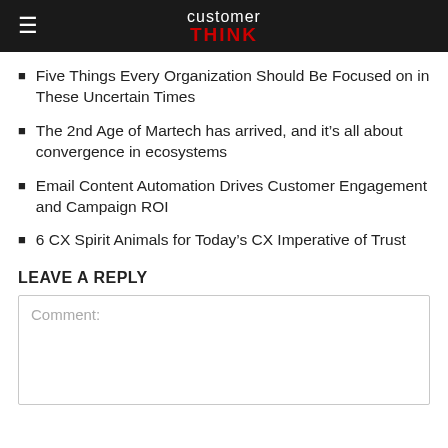customer THINK
Five Things Every Organization Should Be Focused on in These Uncertain Times
The 2nd Age of Martech has arrived, and it’s all about convergence in ecosystems
Email Content Automation Drives Customer Engagement and Campaign ROI
6 CX Spirit Animals for Today’s CX Imperative of Trust
LEAVE A REPLY
Comment: